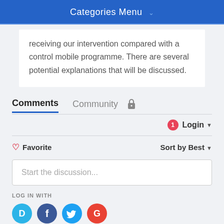Categories Menu
receiving our intervention compared with a control mobile programme. There are several potential explanations that will be discussed.
Comments  Community
Login
Favorite  Sort by Best
Start the discussion...
LOG IN WITH